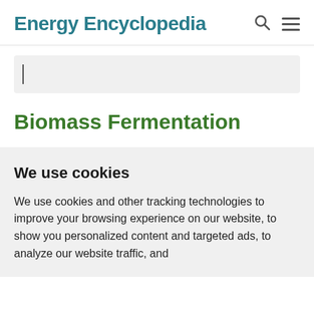Energy Encyclopedia
Biomass Fermentation
We use cookies
We use cookies and other tracking technologies to improve your browsing experience on our website, to show you personalized content and targeted ads, to analyze our website traffic, and